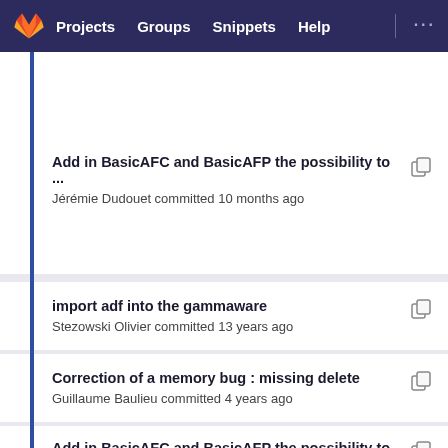Projects  Groups  Snippets  Help
Add in BasicAFC and BasicAFP the possibility to ...
Jérémie Dudouet committed 10 months ago
import adf into the gammaware
Stezowski Olivier committed 13 years ago
Correction of a memory bug : missing delete
Guillaume Baulieu committed 4 years ago
Add in BasicAFC and BasicAFP the possibility to ...